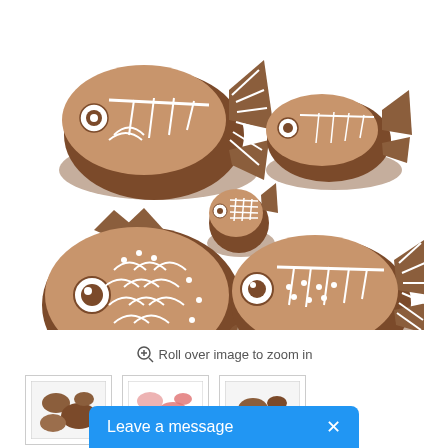[Figure (photo): Five wooden block stamps in fish shapes, various sizes, carved with decorative patterns, arranged on white background. Indian block printing stamps made of rosewood.]
Roll over image to zoom in
[Figure (photo): Thumbnail 1: small image of wooden fish stamps]
[Figure (photo): Thumbnail 2: small image of fish stamp prints in pink/red]
[Figure (photo): Thumbnail 3: small image of fish stamps, alternate view]
Leave a message